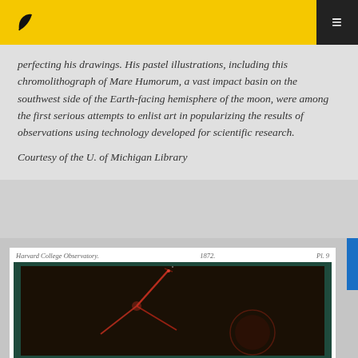perfecting his drawings. His pastel illustrations, including this chromolithograph of Mare Humorum, a vast impact basin on the southwest side of the Earth-facing hemisphere of the moon, were among the first serious attempts to enlist art in popularizing the results of observations using technology developed for scientific research.
Courtesy of the U. of Michigan Library
[Figure (photo): Harvard College Observatory 1872 astronomical plate (Pl. 9) showing a dark red/orange astronomical image of what appears to be a comet or stellar object with streaks of light against a dark background]